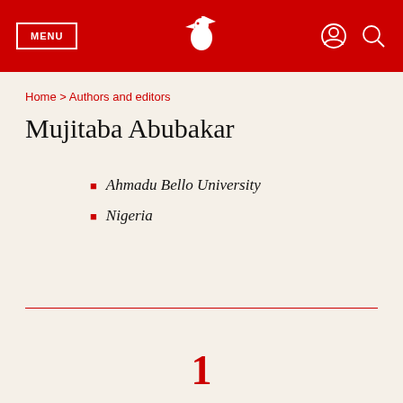MENU | [logo] | [user icon] [search icon]
Home > Authors and editors
Mujitaba Abubakar
Ahmadu Bello University
Nigeria
1